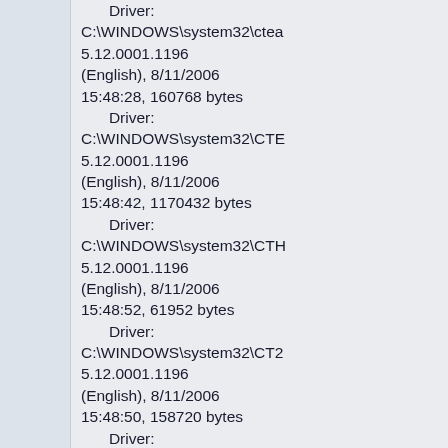Driver: C:\WINDOWS\system32\ctea 5.12.0001.1196 (English), 8/11/2006 15:48:28, 160768 bytes
    Driver: C:\WINDOWS\system32\CTE 5.12.0001.1196 (English), 8/11/2006 15:48:42, 1170432 bytes
    Driver: C:\WINDOWS\system32\CTH 5.12.0001.1196 (English), 8/11/2006 15:48:52, 61952 bytes
    Driver: C:\WINDOWS\system32\CT2 5.12.0001.1196 (English), 8/11/2006 15:48:50, 158720 bytes
    Driver: C:\WINDOWS\system32\ctem 5.12.0001.1196 (English), 8/11/2006 15:48:52, 108032 bytes
    Driver: